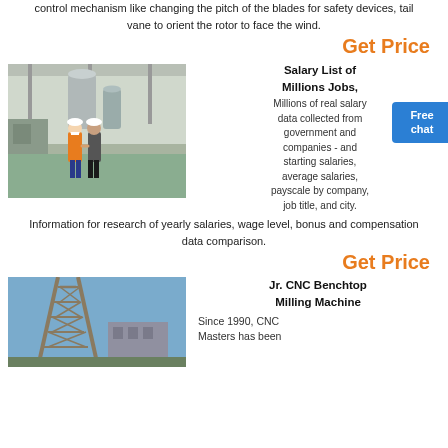control mechanism like changing the pitch of the blades for safety devices, tail vane to orient the rotor to face the wind.
Get Price
[Figure (photo): Two workers in an industrial facility shaking hands; one wearing an orange vest and hard hat, the other in a plaid shirt and hard hat. Large industrial silos and equipment visible in background.]
Salary List of Millions Jobs,
Millions of real salary data collected from government and companies - and starting salaries, average salaries, payscale by company, job title, and city.
Information for research of yearly salaries, wage level, bonus and compensation data comparison.
Get Price
[Figure (photo): Industrial tower or wind turbine structure with metal lattice framework against a blue sky, with a building visible in the background.]
Jr. CNC Benchtop Milling Machine
Since 1990, CNC Masters has been